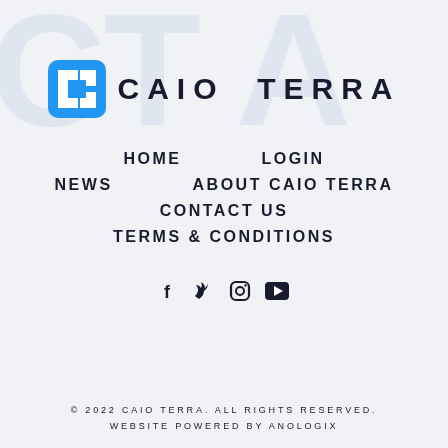[Figure (logo): Caio Terra logo: blue rounded square icon with abstract C shape, followed by text CAIO TERRA in bold spaced uppercase letters]
HOME
LOGIN
NEWS
ABOUT CAIO TERRA
CONTACT US
TERMS & CONDITIONS
[Figure (infographic): Social media icons: Facebook (f), Twitter (bird), Instagram (circle camera), YouTube (play button)]
© 2022 CAIO TERRA. ALL RIGHTS RESERVED. WEBSITE POWERED BY ANOLOGIX